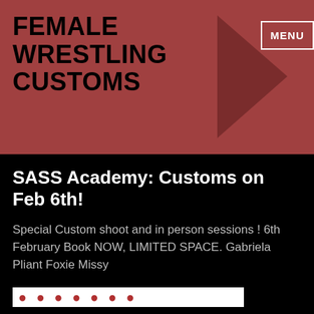FEMALE WRESTLING CUSTOMS
SASS Academy: Customs on Feb 6th!
Special Custom shoot and in person sessions ! 6th February Book NOW, LIMITED SPACE. Gabriela Pliant Foxie Missy
[Figure (other): Partial white banner with red text visible at the bottom of the content area, partially cut off]